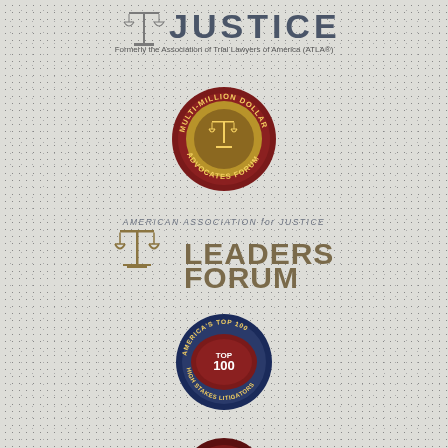[Figure (logo): American Association for Justice logo with scales icon and text 'JUSTICE' and subtitle 'Formerly the Association of Trial Lawyers of America (ATLA®)']
[Figure (logo): Multi-Million Dollar Advocates Forum circular badge/seal in dark red and gold]
[Figure (logo): American Association for Justice Leaders Forum logo with scales of justice icon]
[Figure (logo): America's Top 100 High Stakes Litigators circular badge in dark blue and red]
[Figure (logo): Association of Distinguished... America's Top One Percent partial circular badge in dark red and gold (partially visible at bottom)]